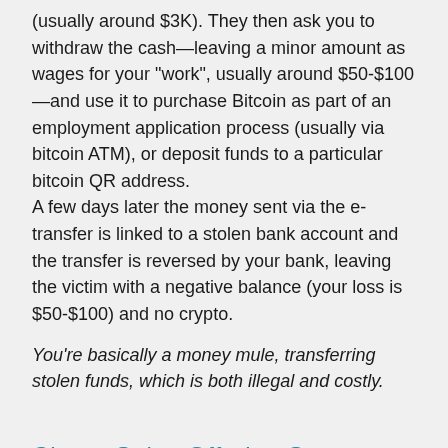(usually around $3K). They then ask you to withdraw the cash—leaving a minor amount as wages for your "work", usually around $50-$100—and use it to purchase Bitcoin as part of an employment application process (usually via bitcoin ATM), or deposit funds to a particular bitcoin QR address.
A few days later the money sent via the e-transfer is linked to a stolen bank account and the transfer is reversed by your bank, leaving the victim with a negative balance (your loss is $50-$100) and no crypto.
You're basically a money mule, transferring stolen funds, which is both illegal and costly.
Cheap Sales Offering Scams